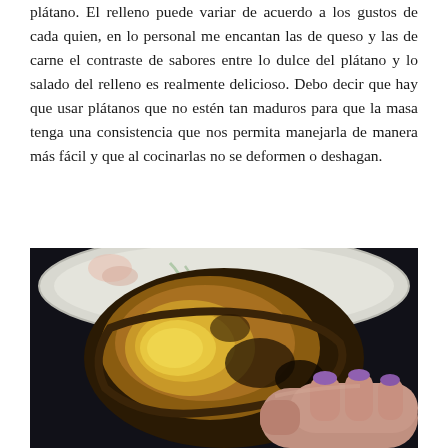plátano. El relleno puede variar de acuerdo a los gustos de cada quien, en lo personal me encantan las de queso y las de carne el contraste de sabores entre lo dulce del plátano y lo salado del relleno es realmente delicioso. Debo decir que hay que usar plátanos que no estén tan maduros para que la masa tenga una consistencia que nos permita manejarla de manera más fácil y que al cocinarlas no se deformen o deshagan.
[Figure (photo): A close-up photo of a cooked plantain dish (likely rellena de plátano or tostón relleno) on a white plate with floral design, being held open by a hand with pink/purple nail polish, showing the golden-yellow interior filling, dark background.]